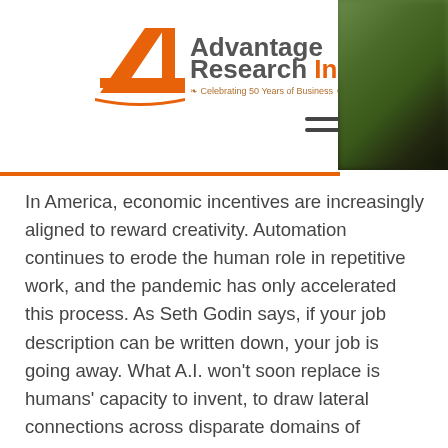[Figure (logo): Advantage Research Inc logo with orange stylized '4' mark and text 'Advantage Research Inc' with tagline 'Celebrating 50 Years of Business']
[Figure (photo): Blurred green/dark nature photo in upper right corner]
In America, economic incentives are increasingly aligned to reward creativity. Automation continues to erode the human role in repetitive work, and the pandemic has only accelerated this process. As Seth Godin says, if your job description can be written down, your job is going away. What A.I. won't soon replace is humans' capacity to invent, to draw lateral connections across disparate domains of information, impulsively drafting the new.